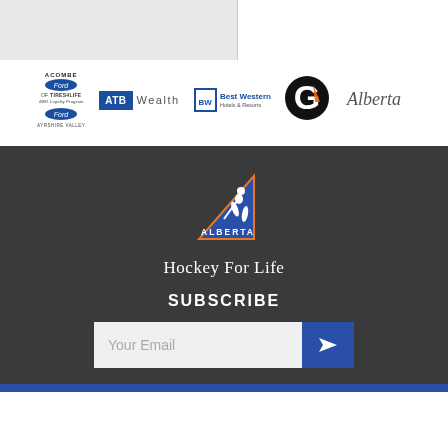[Figure (logo): Top gray bar with white panel on right side]
[Figure (logo): Sponsor logos row: Acombe Ford / Tires4Life / Ayrshire Valley Ford, ATB Wealth, Best Western Hotels & Resorts, Gatorade, Alberta government]
[Figure (logo): Alberta Hockey skier logo with ALBERTA text]
Hockey For Life
SUBSCRIBE
Your Email